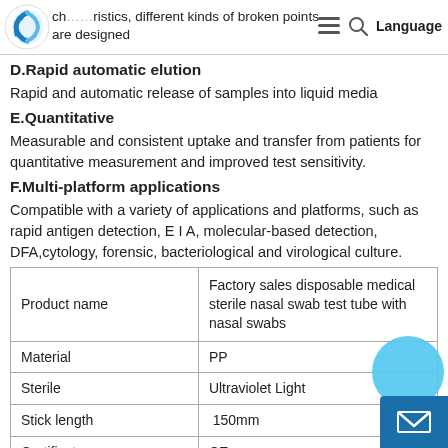ch…ristics, different kinds of broken points are designed
D.Rapid automatic elution
Rapid and automatic release of samples into liquid media
E.Quantitative
Measurable and consistent uptake and transfer from patients for quantitative measurement and improved test sensitivity.
F.Multi-platform applications
Compatible with a variety of applications and platforms, such as rapid antigen detection, E I A, molecular-based detection, DFA,cytology, forensic, bacteriological and virological culture.
| Product name | Factory sales disposable medical sterile nasal swab test tube with nasal swabs |
| --- | --- |
| Material | PP |
| Sterile | Ultraviolet Light |
| Stick length | 150mm |
| Certificate | CE |
| Usage | Sample collection |